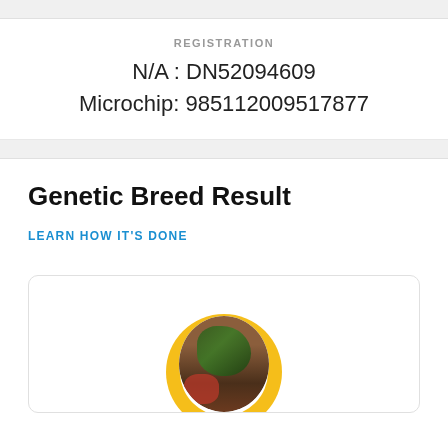REGISTRATION
N/A : DN52094609
Microchip: 985112009517877
Genetic Breed Result
LEARN HOW IT'S DONE
[Figure (photo): Circular dog photo inside a golden arc/ring, showing a small dog wearing a holiday wreath or decoration]